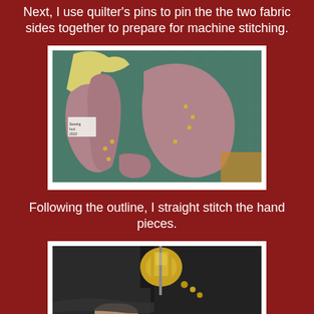Next, I use quilter's pins to pin the the two fabric sides together to prepare for machine stitching.
[Figure (photo): Fabric hand pieces pinned together with quilter's pins on a cutting mat, alongside a paper pattern piece.]
Following the outline, I straight stitch the hand pieces.
[Figure (photo): Close-up of a sewing machine with gold/brass colored presser foot stitching dark fabric.]